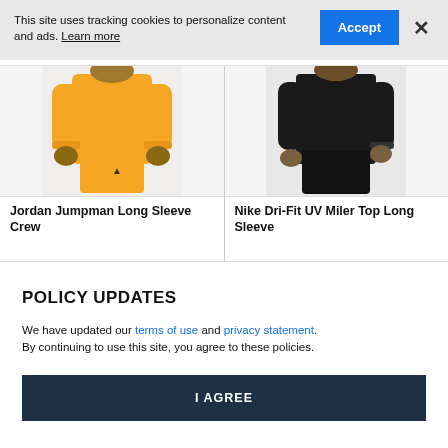This site uses tracking cookies to personalize content and ads. Learn more
[Figure (screenshot): Blue Accept button and X close button for cookie banner]
[Figure (photo): Jordan Jumpman Long Sleeve Crew yellow outfit product photo]
Jordan Jumpman Long Sleeve Crew
[Figure (photo): Nike Dri-Fit UV Miler Top Long Sleeve black outfit product photo]
Nike Dri-Fit UV Miler Top Long Sleeve
POLICY UPDATES
We have updated our terms of use and privacy statement. By continuing to use this site, you agree to these policies.
I AGREE